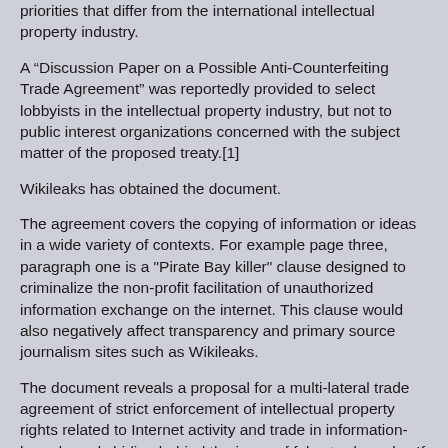priorities that differ from the international intellectual property industry.
A “Discussion Paper on a Possible Anti-Counterfeiting Trade Agreement” was reportedly provided to select lobbyists in the intellectual property industry, but not to public interest organizations concerned with the subject matter of the proposed treaty.[1]
Wikileaks has obtained the document.
The agreement covers the copying of information or ideas in a wide variety of contexts. For example page three, paragraph one is a "Pirate Bay killer" clause designed to criminalize the non-profit facilitation of unauthorized information exchange on the internet. This clause would also negatively affect transparency and primary source journalism sites such as Wikileaks.
The document reveals a proposal for a multi-lateral trade agreement of strict enforcement of intellectual property rights related to Internet activity and trade in information-based goods hiding behind the issue of false trademarks. If adopted, a treaty of this form would impose a strong, top-down enforcement regime, with new cooperation requirements upon internet service providers, including perfunctory disclosure of customer information. The proposal also bans "anti-circumvention" measures which may